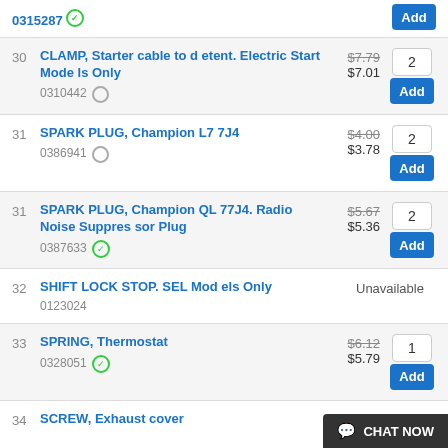| # | Part | Price | Qty/Add |
| --- | --- | --- | --- |
|  | 0315287 |  |  |
| 30 | CLAMP, Starter cable to detent. Electric Start Models Only
0310442 | $7.79 / $7.01 | 2 / Add |
| 31 | SPARK PLUG, Champion L77J4
0386941 | $4.00 / $3.78 | 2 / Add |
| 31 | SPARK PLUG, Champion QL77J4. Radio Noise Suppressor Plug
0387633 | $5.67 / $5.36 | 2 / Add |
| 32 | SHIFT LOCK STOP. SEL Models Only
0123024 | Unavailable |  |
| 33 | SPRING, Thermostat
0328051 | $6.12 / $5.79 | 1 / Add |
| 34 | SCREW, Exhaust cover | $6.4... |  |